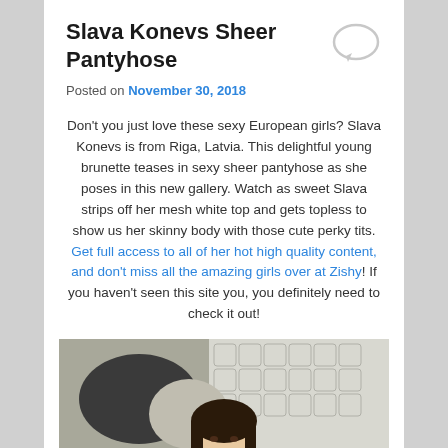Slava Konevs Sheer Pantyhose
Posted on November 30, 2018
Don't you just love these sexy European girls? Slava Konevs is from Riga, Latvia. This delightful young brunette teases in sexy sheer pantyhose as she poses in this new gallery. Watch as sweet Slava strips off her mesh white top and gets topless to show us her skinny body with those cute perky tits. Get full access to all of her hot high quality content, and don't miss all the amazing girls over at Zishy! If you haven't seen this site you, you definitely need to check it out!
[Figure (photo): Photograph of a dark-haired young woman in a room with decorative white lattice wall panels and dark pillows]